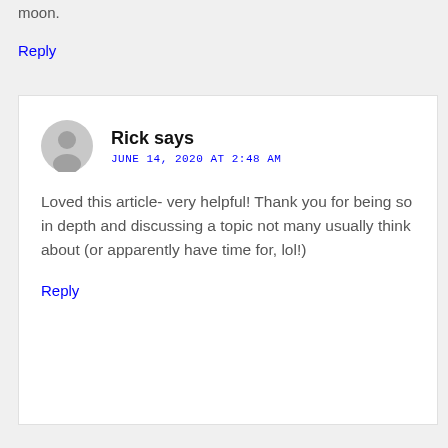moon.
Reply
Rick says
JUNE 14, 2020 AT 2:48 AM
Loved this article- very helpful! Thank you for being so in depth and discussing a topic not many usually think about (or apparently have time for, lol!)
Reply